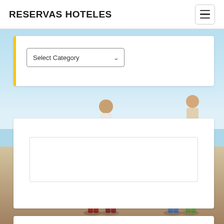RESERVAS HOTELES
[Figure (screenshot): Select Category dropdown UI element with yellow left border accent on white card]
[Figure (photo): Beach scene with people standing on sandy beach under blue sky]
[Figure (screenshot): White card panel with inner white box content area]
[Figure (screenshot): White card panel at bottom of page]